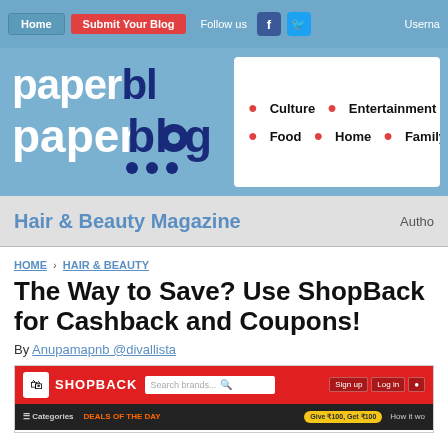Home | Submit Your Blog | Follow us | Username
[Figure (screenshot): Paperblog website header with logo and navigation categories: Culture, Entertainment, So..., Food, Home, Family, S...]
Hair & Beauty Magazine | Author
HOME › HAIR & BEAUTY
The Way to Save? Use ShopBack for Cashback and Coupons!
By Anupamapnb @divallista
[Figure (screenshot): ShopBack website screenshot showing the homepage with search bar, Sign up, Log in buttons, Categories menu, Deals of the Day, and Give ₹100, Get ₹100 promotion]